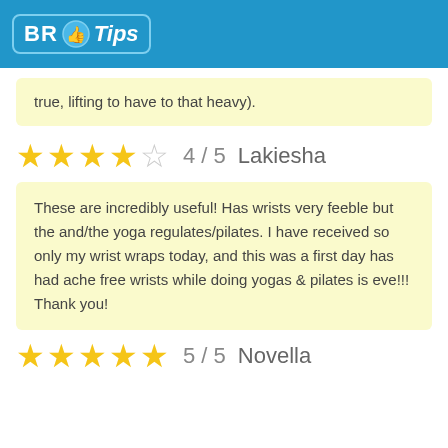BR Tips
true, lifting to have to that heavy).
4 / 5   Lakiesha
These are incredibly useful! Has wrists very feeble but the and/the yoga regulates/pilates. I have received so only my wrist wraps today, and this was a first day has had ache free wrists while doing yogas & pilates is eve!!! Thank you!
5 / 5   Novella